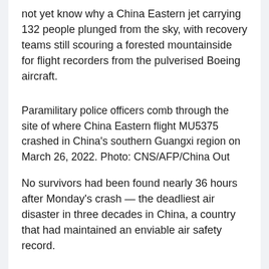not yet know why a China Eastern jet carrying 132 people plunged from the sky, with recovery teams still scouring a forested mountainside for flight recorders from the pulverised Boeing aircraft.
Paramilitary police officers comb through the site of where China Eastern flight MU5375 crashed in China's southern Guangxi region on March 26, 2022. Photo: CNS/AFP/China Out
No survivors had been found nearly 36 hours after Monday's crash — the deadliest air disaster in three decades in China, a country that had maintained an enviable air safety record.